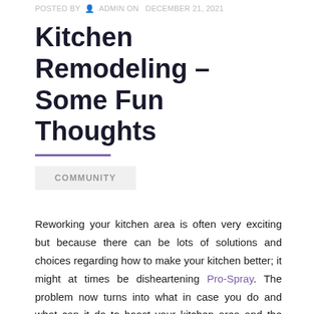POSTED BY  ADMIN ON  DECEMBER 21, 2021
Kitchen Remodeling – Some Fun Thoughts
COMMUNITY
Reworking your kitchen area is often very exciting but because there can be lots of solutions and choices regarding how to make your kitchen better; it might at times be disheartening Pro-Spray. The problem now turns into what in case you do and what can it do to boost your kitchen area and the appear of your house over a entire. What I personally would recommend can be a new backsplash or perhaps a new countertop for your personal kitchen; the two can carry stunning radiance and not only make your kitchen area search gorgeous; it can make your house general glance far better. Just after remodeling your